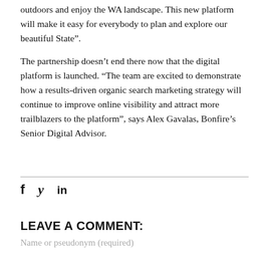outdoors and enjoy the WA landscape. This new platform will make it easy for everybody to plan and explore our beautiful State”.
The partnership doesn’t end there now that the digital platform is launched. “The team are excited to demonstrate how a results-driven organic search marketing strategy will continue to improve online visibility and attract more trailblazers to the platform”, says Alex Gavalas, Bonfire’s Senior Digital Advisor.
[Figure (other): Social share icons: Facebook (f), Twitter (bird/t), LinkedIn (in)]
LEAVE A COMMENT:
Name or pseudonym (required)